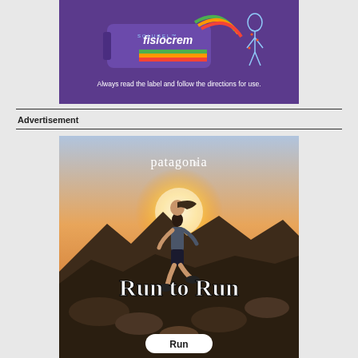[Figure (illustration): Fisiocrem advertisement with purple background showing a tube of Fisiocrem Solugel product and a human body diagram. Text reads: 'Always read the label and follow the directions for use.']
Advertisement
[Figure (photo): Patagonia advertisement showing a trail runner (woman) running uphill against a sunset background with mountains. Text overlaid: 'patagonia' at top, 'Run to Run' in large bold white text, and a rounded button at bottom reading 'Run'.]